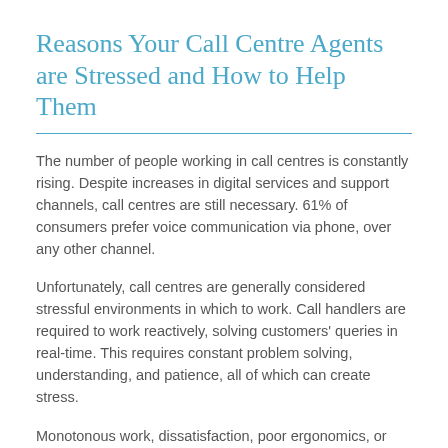Reasons Your Call Centre Agents are Stressed and How to Help Them
The number of people working in call centres is constantly rising. Despite increases in digital services and support channels, call centres are still necessary. 61% of consumers prefer voice communication via phone, over any other channel.
Unfortunately, call centres are generally considered stressful environments in which to work. Call handlers are required to work reactively, solving customers' queries in real-time. This requires constant problem solving, understanding, and patience, all of which can create stress.
Monotonous work, dissatisfaction, poor ergonomics, or role ambiguity add yet more stress. Not to mention time pressures, high expectations, and high call